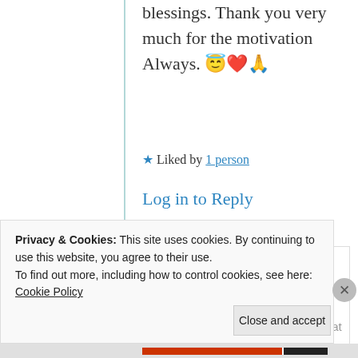blessings. Thank you very much for the motivation Always. 😇❤️🙏
★ Liked by 1 person
Log in to Reply
[Figure (photo): Circular avatar photo of commenter KK, a man with sunglasses and beard]
KK
26th Jun 2021 at
8:18 pm
Privacy & Cookies: This site uses cookies. By continuing to use this website, you agree to their use.
To find out more, including how to control cookies, see here: Cookie Policy
Close and accept